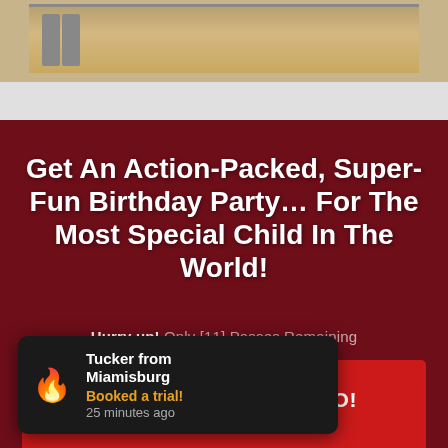[Figure (photo): Top portion of a photo showing a classroom or gym floor with chairs]
Get An Action-Packed, Super-Fun Birthday Party… For The Most Special Child In The World!
Hurry up! Only [11] Passes Remaining
GET MORE PARTY INFO!
Remaining!
Tucker from Miamisburg
Booked a trial!
25 minutes ago